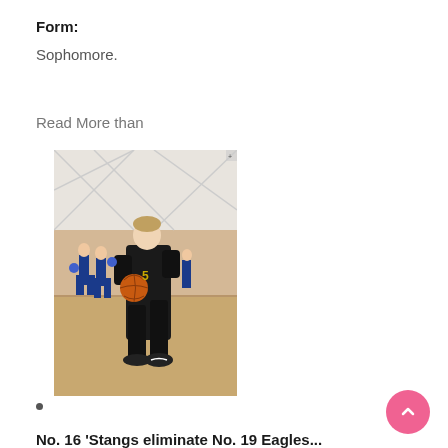Form:
Sophomore.
Read More than
[Figure (photo): A young basketball player in a black uniform dribbling a basketball on a gym court, with cheerleaders visible in the background.]
No. 16 'Stangs eliminate No. 19 Eagles...